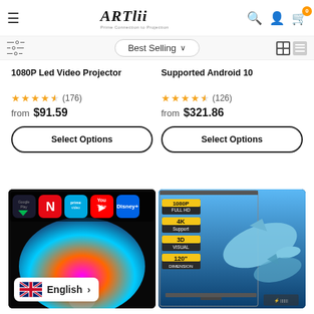ARTlii — Best Selling projectors store header with navigation icons
ARTlii Enjoy2 Mini Full HD 1080P Led Video Projector
★★★★½ (176) from $91.59
Select Options
ARTlii Play3 Smart Projector Supported Android 10
★★★★½ (126) from $321.86
Select Options
[Figure (screenshot): Streaming apps (Google Play, Netflix, Prime Video, YouTube, Disney+) displayed on a colorful background]
[Figure (screenshot): Projector screen with 1080P FULL HD, 4K Support, 3D VISUAL, 120 DIMENSION labels, with dolphin image]
English >